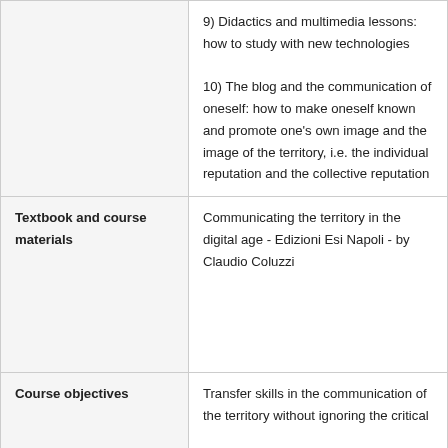|  | 9) Didactics and multimedia lessons: how to study with new technologies
10) The blog and the communication of oneself: how to make oneself known and promote one's own image and the image of the territory, i.e. the individual reputation and the collective reputation |
| Textbook and course materials | Communicating the territory in the digital age - Edizioni Esi Napoli - by Claudio Coluzzi |
| Course objectives | Transfer skills in the communication of the territory without ignoring the critical |